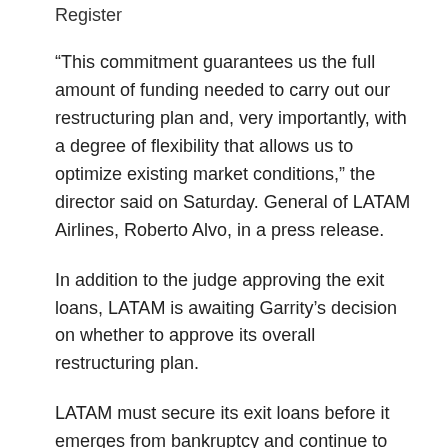Register
“This commitment guarantees us the full amount of funding needed to carry out our restructuring plan and, very importantly, with a degree of flexibility that allows us to optimize existing market conditions,” the director said on Saturday. General of LATAM Airlines, Roberto Alvo, in a press release.
In addition to the judge approving the exit loans, LATAM is awaiting Garrity’s decision on whether to approve its overall restructuring plan.
LATAM must secure its exit loans before it emerges from bankruptcy and continue to raise funds through an $800 million post-bankruptcy equity offering, according to court documents.
Born in 2012 from the merger of Chilean LAN with its Brazilian rival TAM, LATAM was one of three major Latin American airlines to seek Chapter 11 protection in New York two years ago amid the